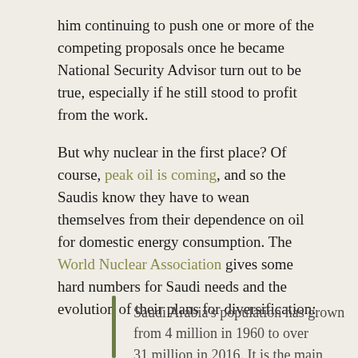him continuing to push one or more of the competing proposals once he became National Security Advisor turn out to be true, especially if he still stood to profit from the work.
But why nuclear in the first place? Of course, peak oil is coming, and so the Saudis know they have to wean themselves from their dependence on oil for domestic energy consumption. The World Nuclear Association gives some hard numbers for Saudi needs and the evolution of their plans for diversification:
Saudi Arabia's population has grown from 4 million in 1960 to over 31 million in 2016. It is the main electricity producer and consumer in the Gulf